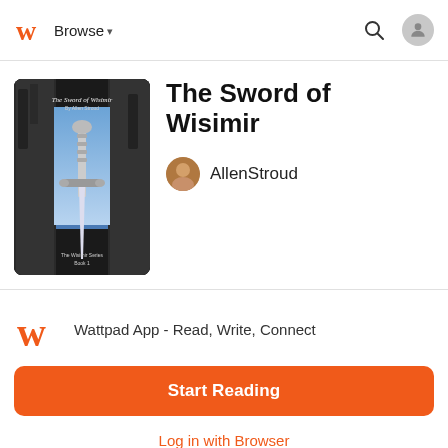Browse
[Figure (screenshot): Book cover for The Sword of Wisimir showing a sword against dark rocky background with blue sky]
The Sword of Wisimir
AllenStroud
[Figure (logo): Wattpad orange W logo]
Wattpad App - Read, Write, Connect
Start Reading
Log in with Browser